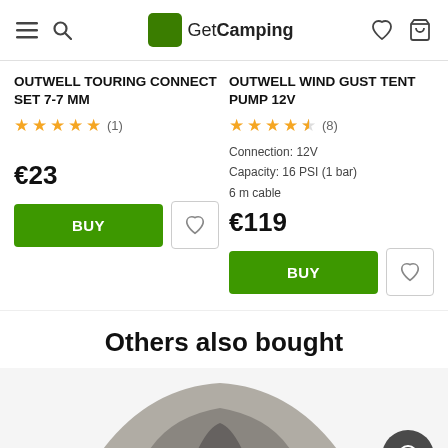GetCamping
OUTWELL TOURING CONNECT SET 7-7 MM
★★★★★ (1)
€23
OUTWELL WIND GUST TENT PUMP 12V
★★★★½ (8)
Connection: 12V
Capacity: 16 PSI (1 bar)
6 m cable
€119
Others also bought
[Figure (photo): Partial view of a grey camping tent, bottom portion visible]